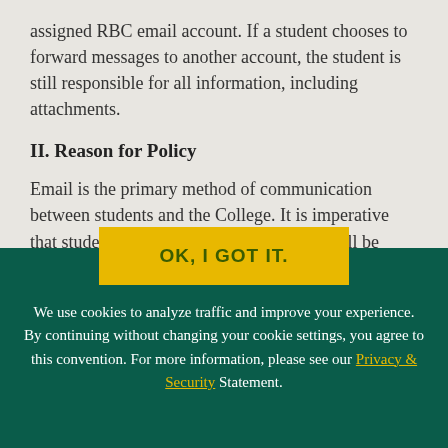assigned RBC email account. If a student chooses to forward messages to another account, the student is still responsible for all information, including attachments.
II. Reason for Policy
Email is the primary method of communication between students and the College. It is imperative that students understand that information will be communicated to them via their College-assigned RBC email account, while the
OK, I GOT IT.
We use cookies to analyze traffic and improve your experience. By continuing without changing your cookie settings, you agree to this convention. For more information, please see our Privacy & Security Statement.